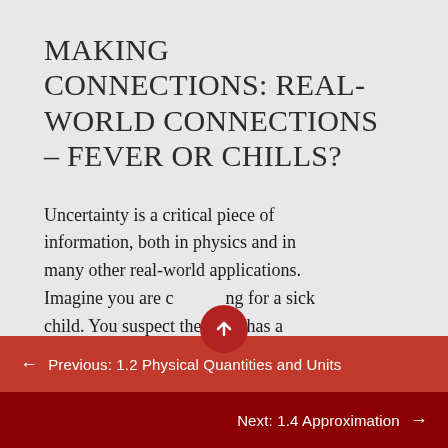MAKING CONNECTIONS: REAL-WORLD CONNECTIONS – FEVER OR CHILLS?
Uncertainty is a critical piece of information, both in physics and in many other real-world applications. Imagine you are caring for a sick child. You suspect the child has a
← Previous: 1.2 Physical Quantities and Units
Next: 1.4 Approximation →